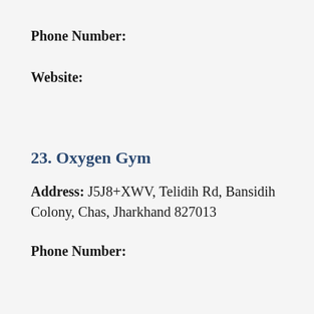Phone Number:
Website:
23. Oxygen Gym
Address: J5J8+XWV, Telidih Rd, Bansidih Colony, Chas, Jharkhand 827013
Phone Number: